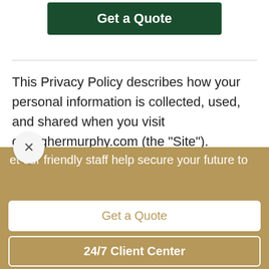[Figure (screenshot): Green 'Get a Quote' button at top of page]
This Privacy Policy describes how your personal information is collected, used, and shared when you visit gallaghermurphy.com (the “Site”).
Personal information we collect
et our friendly staff help secure your future to
Get a Quote
24/7 Client Center